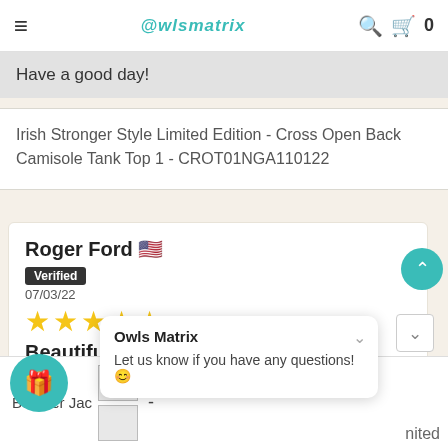≡  OwlsMatrix  🔍 🛒 0
Have a good day!
Irish Stronger Style Limited Edition - Cross Open Back Camisole Tank Top 1 - CROT01NGA110122
Roger Ford 🇺🇸
Verified
07/03/22
★★★★★
Beautiful
This shirt is just awesome... Read more
Bomber Jac...
Owls Matrix
Let us know if you have any questions! 😊
nited